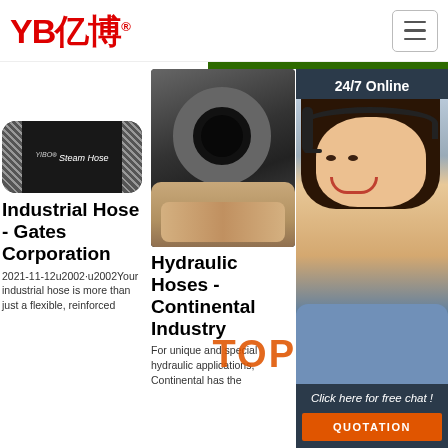[Figure (logo): YB亿博 company logo in red]
[Figure (photo): YIBO Steam Hose product photo - black rubber hose with braided ends and white label text]
[Figure (photo): Hydraulic hose end-on view held in hand showing circular cross-section]
[Figure (photo): 24/7 Online customer service representative with headset, chat panel with QUOTATION button]
Industrial Hose - Gates Corporation
2021-11-12u2002·u2002Your industrial hose is more than just a flexible, reinforced
Hydraulic Hoses - Continental Industry
For unique and special hydraulic applications, Continental has the
GU... Sa...
2015-8-10u2002·u2002Vers 1: Hose Assembly Specification Guides, along with Design and Fabrication Guides